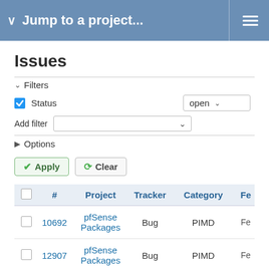Jump to a project...
Issues
Filters
Status  open
Add filter
Options
Apply   Clear
|  | # | Project | Tracker | Category |  |
| --- | --- | --- | --- | --- | --- |
|  | 10692 | pfSense Packages | Bug | PIMD | Fe |
|  | 12907 | pfSense Packages | Bug | PIMD | Fe |
|  | 9024 | pfSense | Bug | Traffic Shaper (Limiters) | Fe |